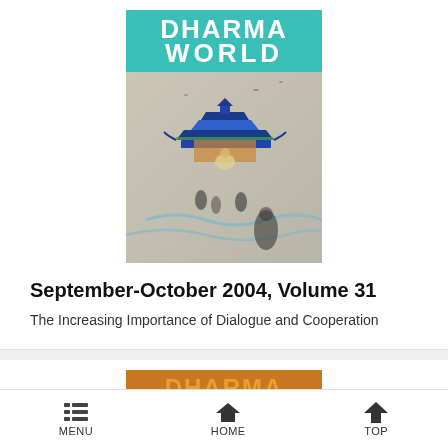[Figure (illustration): Cover of Dharma World magazine, September-October 2004, Volume 31. Teal/turquoise masthead with 'DHARMA WORLD' in white letters, Buddhist temple painting scene below with pagoda, Buddha figure, and figures in a landscape.]
September-October 2004, Volume 31
The Increasing Importance of Dialogue and Cooperation
[Figure (illustration): Partial cover of Dharma World magazine, July-August 2004, Volume 31. Orange/gold masthead with 'DHARMA WORLD' text, showing people in lower portion.]